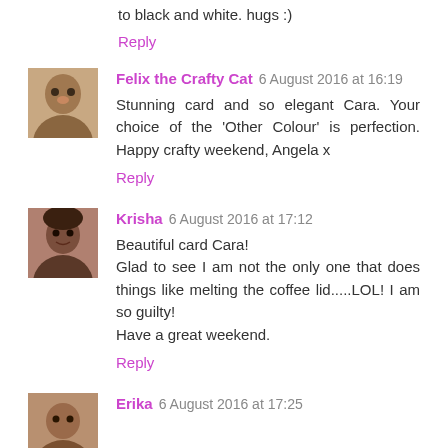to black and white. hugs :)
Reply
Felix the Crafty Cat 6 August 2016 at 16:19
Stunning card and so elegant Cara. Your choice of the 'Other Colour' is perfection. Happy crafty weekend, Angela x
Reply
Krisha 6 August 2016 at 17:12
Beautiful card Cara!
Glad to see I am not the only one that does things like melting the coffee lid.....LOL! I am so guilty!
Have a great weekend.
Reply
Erika 6 August 2016 at 17:25